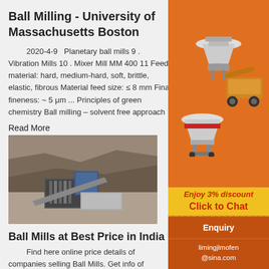Ball Milling - University of Massachusetts Boston
2020-4-9  Planetary ball mills 9 . Vibration Mills 10 . Mixer Mill MM 400 11 Feed material: hard, medium-hard, soft, brittle, elastic, fibrous Material feed size: ≤ 8 mm Final fineness: ~ 5 μm ... Principles of green chemistry Ball milling – solvent free approach
Read More
[Figure (photo): Aerial or elevated view of industrial ball mill equipment installed in an open mining or quarry site, showing large machinery with blue and grey components set against rocky terrain.]
Ball Mills at Best Price in India
Find here online price details of companies selling Ball Mills. Get info of suppliers, manufacturers, exporters, traders of Ball Mills for buying in India.
[Figure (photo): Advertisement sidebar showing orange background with images of industrial crushing/milling machinery, a yellow banner reading 'Enjoy 3% discount', 'Click to Chat' button, 'Enquiry' section, and contact email limingjlmofen@sina.com]